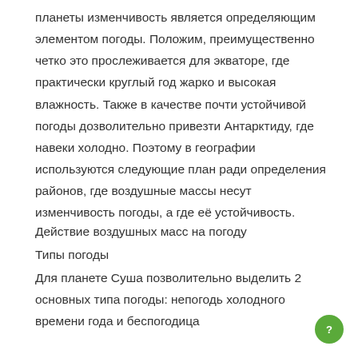планеты изменчивость является определяющим элементом погоды. Положим, преимущественно четко это прослеживается для экваторе, где практически круглый год жарко и высокая влажность. Также в качестве почти устойчивой погоды дозволительно привезти Антарктиду, где навеки холодно. Поэтому в географии используются следующие план ради определения районов, где воздушные массы несут изменчивость погоды, а где её устойчивость.
Действие воздушных масс на погоду
Типы погоды
Для планете Суша позволительно выделить 2 основных типа погоды: непогодь холодного времени года и беспогодица